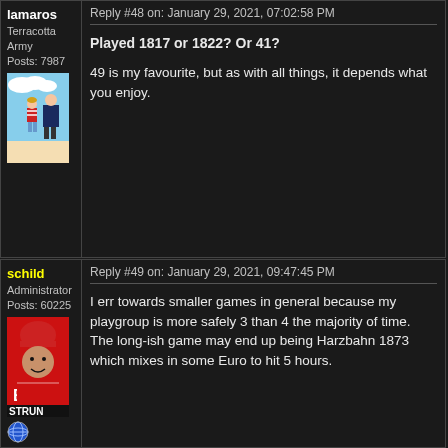lamaros
Terracotta Army
Posts: 7987
[Figure (illustration): Avatar image showing cartoon characters on a beach - a boy in red striped shirt and another figure]
Reply #48 on: January 29, 2021, 07:02:58 PM
Played 1817 or 1822? Or 41?
49 is my favourite, but as with all things, it depends what you enjoy.
schild
Administrator
Posts: 60225
[Figure (photo): Avatar photo of a man in red jersey/hat, with 'EA STRUN' text visible]
Reply #49 on: January 29, 2021, 09:47:45 PM
I err towards smaller games in general because my playgroup is more safely 3 than 4 the majority of time. The long-ish game may end up being Harzbahn 1873 which mixes in some Euro to hit 5 hours.
[Figure (illustration): Globe/world icon emoji]